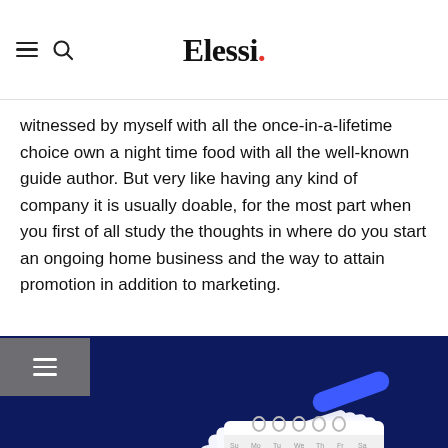Elessi.
witnessed by myself with all the once-in-a-lifetime choice own a night time food with all the well-known guide author. But very like having any kind of company it is usually doable, for the most part when you first of all study the thoughts in where do you start an ongoing home business and the way to attain promotion in addition to marketing.
[Figure (illustration): Animated illustration of a calendar / planner on a dark navy blue background, with colorful abstract shapes (yellow, blue, purple pill-shapes) flying around it. The calendar shows a monthly grid with a highlighted row in yellow.]
2: Region of appearance "and": on the inside Usa Country